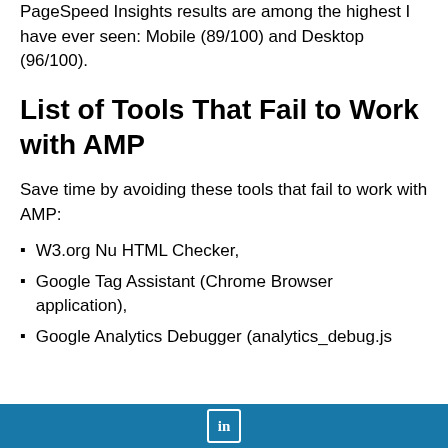PageSpeed Insights results are among the highest I have ever seen: Mobile (89/100) and Desktop (96/100).
List of Tools That Fail to Work with AMP
Save time by avoiding these tools that fail to work with AMP:
W3.org Nu HTML Checker,
Google Tag Assistant (Chrome Browser application),
Google Analytics Debugger (analytics_debug.js
LinkedIn